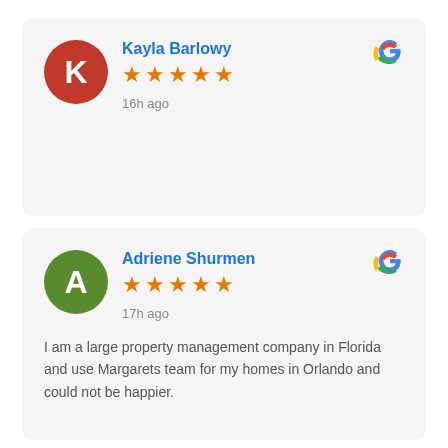Kayla Barlowy
★★★★★
16h ago
Adriene Shurmen
★★★★★
17h ago
I am a large property management company in Florida and use Margarets team for my homes in Orlando and could not be happier.